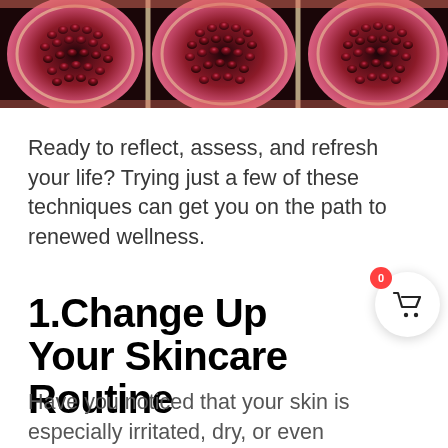[Figure (photo): Close-up photo of sliced pomegranates showing red seeds and white pith, dark background]
Ready to reflect, assess, and refresh your life? Trying just a few of these techniques can get you on the path to renewed wellness.
1.Change Up Your Skincare Routine
Have you noticed that your skin is especially irritated, dry, or even chapped? There are many variables that can contribute to this issue, including windy conditions, central heating, and the drastic difference between outdoor and indoor temperatures. For additional…